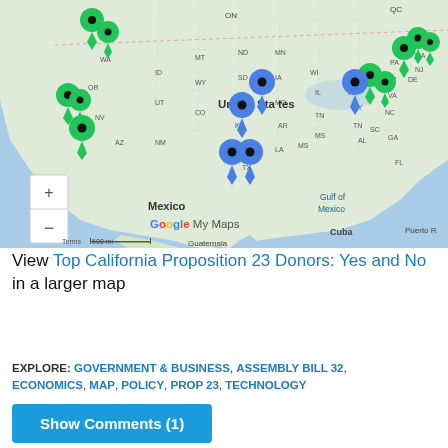[Figure (map): Google My Maps showing top California Proposition 23 donors (Yes and No) across the United States, with green and blue map pins marking donor locations across WA, CA, NV, CO, NE, MN, OH, IN, PA, MA, ME, TX, and other states. A zoom control (+/-) is visible in the lower left. The map includes labels: United States, Mexico, Gulf of Mexico, Cuba, Puerto Rico, Guatemala, and states/provinces. Google My Maps attribution is shown.]
View Top California Proposition 23 Donors: Yes and No in a larger map
EXPLORE: GOVERNMENT & BUSINESS, ASSEMBLY BILL 32, ECONOMICS, MAP, POLICY, PROP 23, TECHNOLOGY
Show Comments (1)